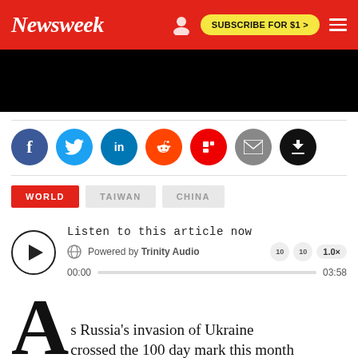Newsweek | SUBSCRIBE FOR $1 >
[Figure (screenshot): Black advertisement/banner area]
[Figure (infographic): Social share buttons: Facebook, Twitter, LinkedIn, Reddit, Flipboard, Email, Bookmark]
WORLD
TAIWAN
CHINA
Listen to this article now
Powered by Trinity Audio
00:00  03:58
As Russia's invasion of Ukraine crossed the 100 day mark this month